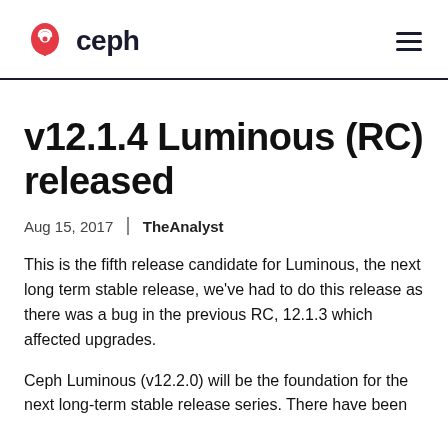ceph
v12.1.4 Luminous (RC) released
Aug 15, 2017  |  TheAnalyst
This is the fifth release candidate for Luminous, the next long term stable release, we've had to do this release as there was a bug in the previous RC, 12.1.3 which affected upgrades.
Ceph Luminous (v12.2.0) will be the foundation for the next long-term stable release series. There have been